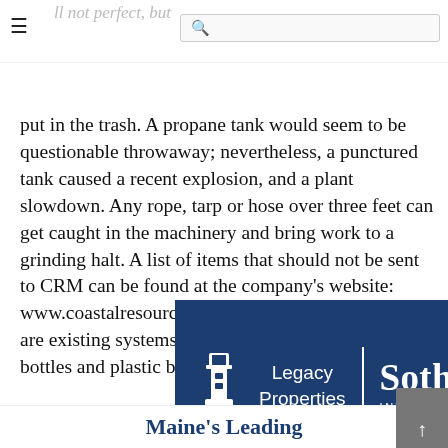≡  [search bar]
ll not perfect, but company's fault. We all need to think about what we put in the trash. A propane tank would seem to be questionable throwaway; nevertheless, a punctured tank caused a recent explosion, and a plant slowdown. Any rope, tarp or hose over three feet can get caught in the machinery and bring work to a grinding halt. A list of items that should not be sent to CRM can be found at the company's website: www.coastalresourcesme.com. In most cases there are existing systems for recycling tires, batteries, bottles and plastic bags/film.
[Figure (logo): Legacy Properties Sotheby's International Realty advertisement banner — dark navy blue background with lighthouse icon, Legacy Properties text, vertical divider, Sotheby's International Realty text in white]
Maine's Leading